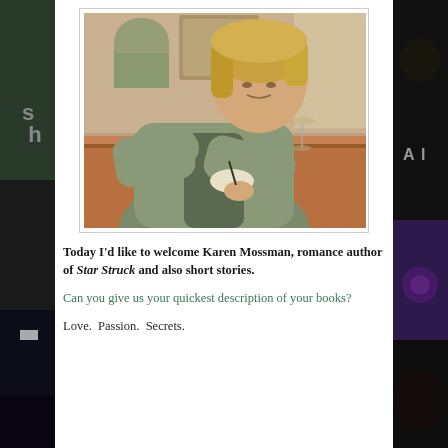[Figure (photo): Woman with short blonde hair writing at a wooden table in a restaurant or café setting, with a wine glass visible in the background]
Today I'd like to welcome Karen Mossman, romance author of Star Struck and also short stories.
Can you give us your quickest description of your books?
Love.  Passion.  Secrets.